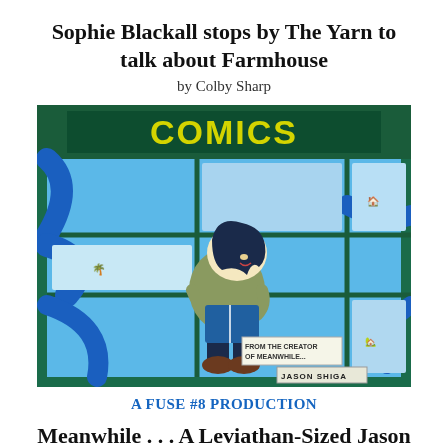Sophie Blackall stops by The Yarn to talk about Farmhouse
by Colby Sharp
[Figure (illustration): Book cover illustration from 'Meanwhile' by Jason Shiga — a cartoon character with dark hair holding an open blue book, standing in front of a comics shop window with blue tentacles and panels. Text on the image reads 'FROM THE CREATOR OF MEANWHILE...' and 'JASON SHIGA'.]
A FUSE #8 PRODUCTION
Meanwhile . . . A Leviathan-Sized Jason